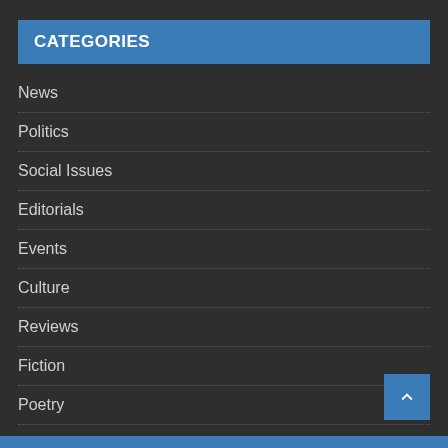CATEGORIES
News
Politics
Social Issues
Editorials
Events
Culture
Reviews
Fiction
Poetry
Memoir
History